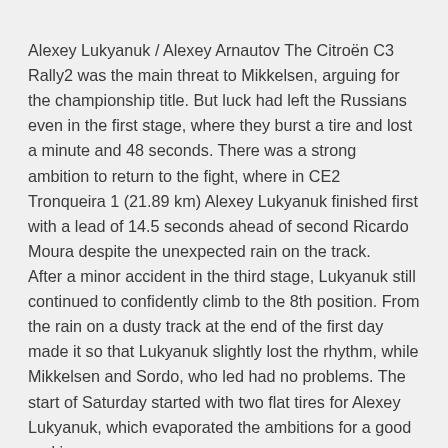Alexey Lukyanuk / Alexey Arnautov The Citroën C3 Rally2 was the main threat to Mikkelsen, arguing for the championship title. But luck had left the Russians even in the first stage, where they burst a tire and lost a minute and 48 seconds. There was a strong ambition to return to the fight, where in CE2 Tronqueira 1 (21.89 km) Alexey Lukyanuk finished first with a lead of 14.5 seconds ahead of second Ricardo Moura despite the unexpected rain on the track.
After a minor accident in the third stage, Lukyanuk still continued to confidently climb to the 8th position. From the rain on a dusty track at the end of the first day made it so that Lukyanuk slightly lost the rhythm, while Mikkelsen and Sordo, who led had no problems. The start of Saturday started with two flat tires for Alexey Lukyanuk, which evaporated the ambitions for a good ranking.
The lack of spare tires stopped Lukyanuk from racing. Here is what he said:
“We had two slow punctures,” he said. “We felt one in the middle [but] I was thinking maybe to drive to the